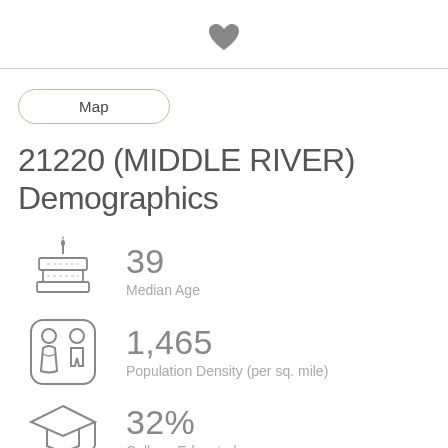[Figure (illustration): Heart icon (favorite/save button) centered at top]
[Figure (illustration): Pill-shaped Map button with rounded border]
21220 (MIDDLE RIVER) Demographics
[Figure (illustration): Birthday cake icon representing median age]
39
Median Age
[Figure (illustration): People/population icon (two figures in rounded square) representing population density]
1,465
Population Density (per sq. mile)
[Figure (illustration): Graduation cap icon representing college educated percentage]
32%
College Educated